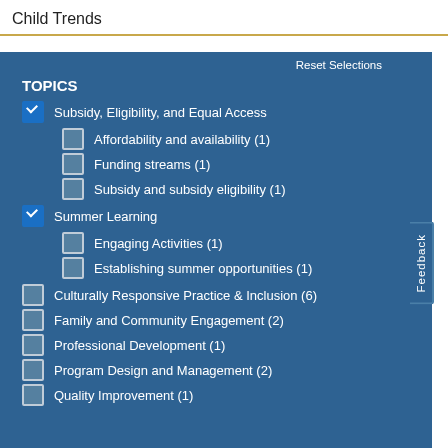Child Trends
TOPICS
Subsidy, Eligibility, and Equal Access [checked]
Affordability and availability (1)
Funding streams (1)
Subsidy and subsidy eligibility (1)
Summer Learning [checked]
Engaging Activities (1)
Establishing summer opportunities (1)
Culturally Responsive Practice & Inclusion (6)
Family and Community Engagement (2)
Professional Development (1)
Program Design and Management (2)
Quality Improvement (1)